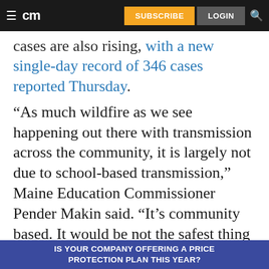cm | SUBSCRIBE | LOGIN
cases are also rising, with a new single-day record of 346 cases reported Thursday.
“As much wildfire as we see happening out there with transmission across the community, it is largely not due to school-based transmission,” Maine Education Commissioner Pender Makin said. “It’s community based. It would be not the safest thing to do to close schools down, even though people might be thinking we should close things.”
IS YOUR COMPANY OFFERING A PRICE PROTECTION PLAN THIS YEAR?